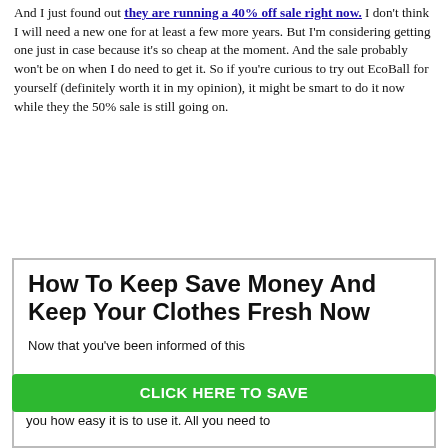And I just found out they are running a 40% off sale right now. I don't think I will need a new one for at least a few more years. But I'm considering getting one just in case because it's so cheap at the moment. And the sale probably won't be on when I do need to get it. So if you're curious to try out EcoBall for yourself (definitely worth it in my opinion), it might be smart to do it now while they the 50% sale is still going on.
How To Keep Save Money And Keep Your Clothes Fresh Now
Now that you've been informed of this
CLICK HERE TO SAVE
you how easy it is to use it. All you need to